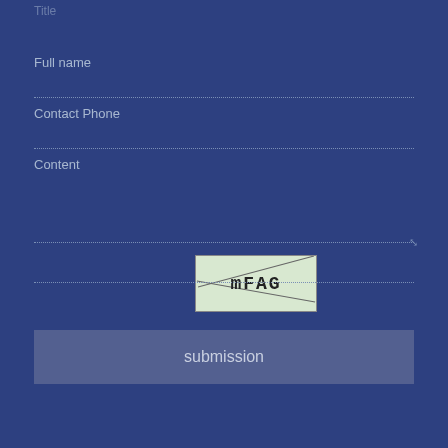Full name
Contact Phone
Content
[Figure (other): CAPTCHA image with text 'mFAG' on light green background with diagonal lines crossing through it]
submission